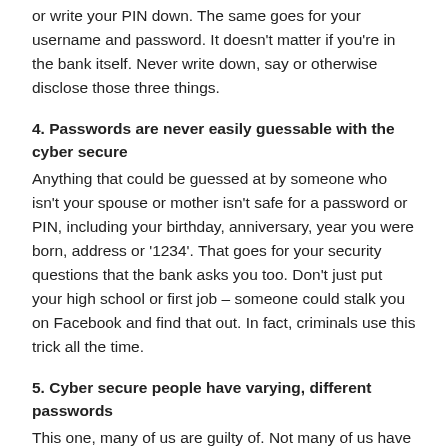or write your PIN down. The same goes for your username and password. It doesn't matter if you're in the bank itself. Never write down, say or otherwise disclose those three things.
4. Passwords are never easily guessable with the cyber secure
Anything that could be guessed at by someone who isn't your spouse or mother isn't safe for a password or PIN, including your birthday, anniversary, year you were born, address or '1234'. That goes for your security questions that the bank asks you too. Don't just put your high school or first job – someone could stalk you on Facebook and find that out. In fact, criminals use this trick all the time.
5. Cyber secure people have varying, different passwords
This one, many of us are guilty of. Not many of us have unsecure passwords like our birth dates, 1234 or the word 'password' anymore. We have one strong and hard-to-guess one with upper and lowercase letters, numbers and symbols in it… but only one. It's so much easier to just remember one…